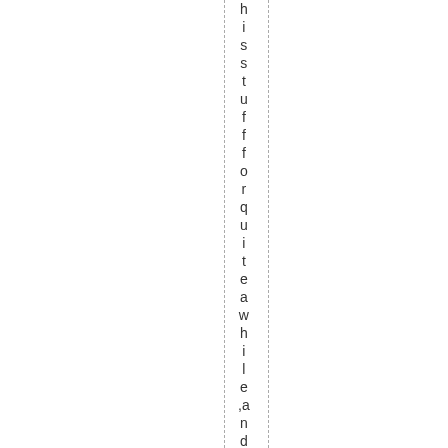h i s s t u f f f o r q u i t e a w h i l e , a n d t h e n n